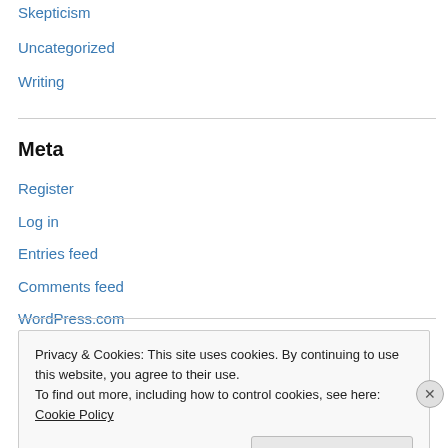Skepticism
Uncategorized
Writing
Meta
Register
Log in
Entries feed
Comments feed
WordPress.com
Privacy & Cookies: This site uses cookies. By continuing to use this website, you agree to their use.
To find out more, including how to control cookies, see here: Cookie Policy
Close and accept